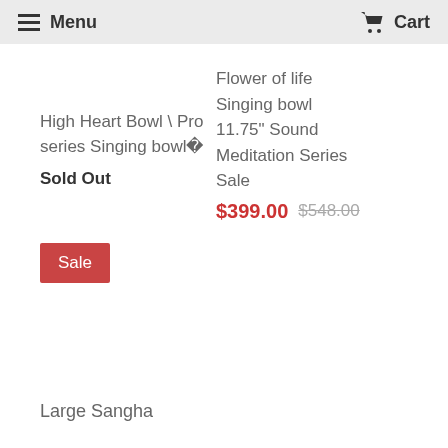Menu  Cart
High Heart Bowl \ Pro series Singing bowl�
Sold Out
Flower of life Singing bowl 11.75" Sound Meditation Series Sale
$399.00 $548.00
Sale
Large Sangha